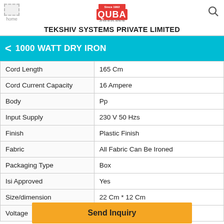QUBA logo — Since 1992 — TEKSHIV SYSTEMS PRIVATE LIMITED
1000 WATT DRY IRON
| Attribute | Value |
| --- | --- |
| Cord Length | 165 Cm |
| Cord Current Capacity | 16 Ampere |
| Body | Pp |
| Input Supply | 230 V 50 Hzs |
| Finish | Plastic Finish |
| Fabric | All Fabric Can Be Ironed |
| Packaging Type | Box |
| Isi Approved | Yes |
| Size/dimension | 22 Cm * 12 Cm |
| Voltage | 220 V 50 Hzs |
Send Inquiry